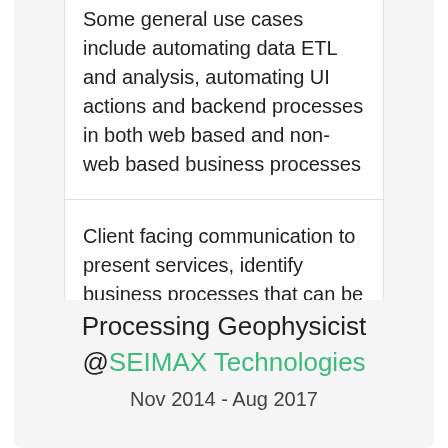Some general use cases include automating data ETL and analysis, automating UI actions and backend processes in both web based and non-web based business processes
Client facing communication to present services, identify business processes that can be automated, and deliver solutions with documentation
Processing Geophysicist @SEIMAX Technologies
Nov 2014 - Aug 2017